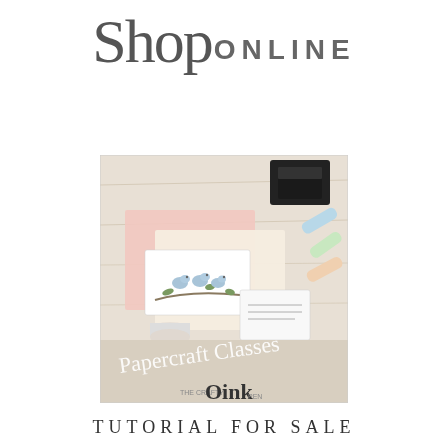Shop ONLINE
[Figure (photo): Papercraft Classes photo showing stamping supplies, ink pads, colored cardstock, a bird stamp art card, thread, and chalk markers on a wooden surface. Overlay text reads 'Papercraft Classes' in script and 'The Crafty Oink Pen' logo below.]
TUTORIAL FOR SALE